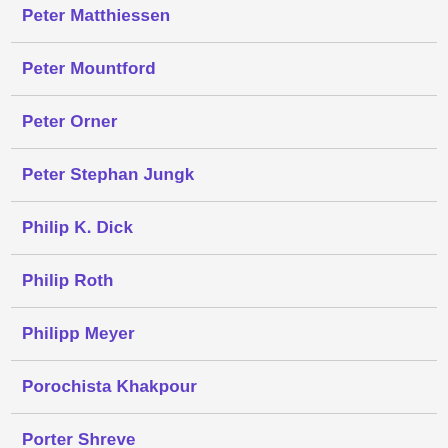Peter Matthiessen
Peter Mountford
Peter Orner
Peter Stephan Jungk
Philip K. Dick
Philip Roth
Philipp Meyer
Porochista Khakpour
Porter Shreve